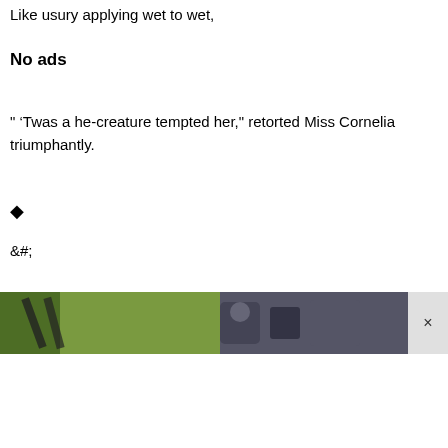Like usury applying wet to wet,
No ads
" 'Twas a he-creature tempted her," retorted Miss Cornelia triumphantly.
�
&#;
[Figure (photo): A cropped advertisement image showing an outdoor scene with green background and dark figures, with a close (x) button on the right.]